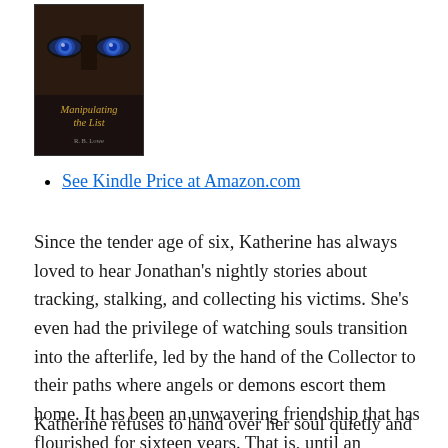[Figure (illustration): Book cover for 'Manipulating the List' showing intense blue eyes peering through darkness with the title in italic gold text and author name below]
See Kindle Price at Amazon.com
Since the tender age of six, Katherine has always loved to hear Jonathan's nightly stories about tracking, stalking, and collecting his victims. She's even had the privilege of watching souls transition into the afterlife, led by the hand of the Collector to their paths where angels or demons escort them home. It has been an unwavering friendship that has flourished for sixteen years. That is, until an unexplainable twist in circumstances causes Katherine's name to appear on the Collector's List.
Katherine refuses to hand over her soul quietly and